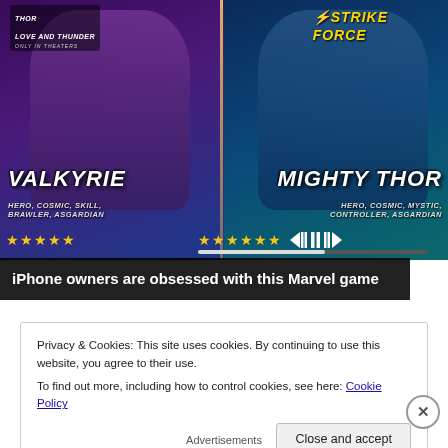[Figure (screenshot): Marvel game advertisement showing Valkyrie (left) and Mighty Thor (right) characters with star ratings. Top-left has a Thor Love and Thunder logo. Top-right shows a yellow stylized 'STRIKE FORCE' logo. A video playback bar is visible at the bottom right.]
iPhone owners are obsessed with this Marvel game
Privacy & Cookies: This site uses cookies. By continuing to use this website, you agree to their use.
To find out more, including how to control cookies, see here: Cookie Policy
Close and accept
Advertisements